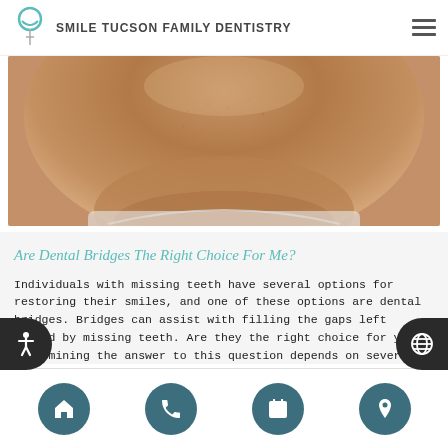Smile Tucson Family Dentistry
[Figure (photo): Close-up photo of a person's chin and lower face/neck area, showing skin texture with a dental/medical bib or drape around the neck]
Are Dental Bridges The Right Choice For Me?
Individuals with missing teeth have several options for restoring their smiles, and one of these options are dental bridges. Bridges can assist with filling the gaps left behind by missing teeth. Are they the right choice for you? Determining the answer to this question depends on several factors, so let's get started.They consist of artificial...
[Figure (infographic): Bottom navigation bar with four circular teal buttons: home icon, phone icon, calendar icon, and map pin/location icon]